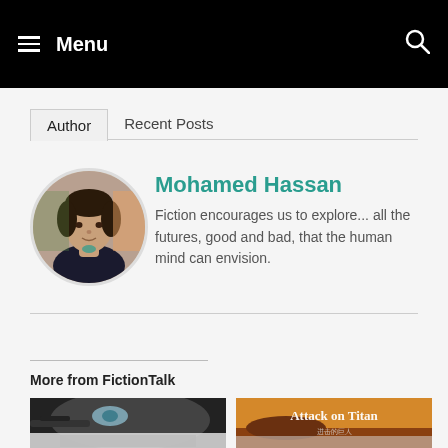Menu
Author | Recent Posts
Mohamed Hassan
Fiction encourages us to explore... all the futures, good and bad, that the human mind can envision.
More from FictionTalk
[Figure (photo): Thumbnail image of a person with blue eyes and dark hair]
[Figure (photo): Attack on Titan promotional image with logo text]